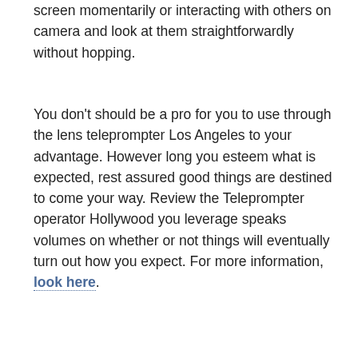best ways to approach this is by simply looking off screen momentarily or interacting with others on camera and look at them straightforwardly without hopping.
You don't should be a pro for you to use through the lens teleprompter Los Angeles to your advantage. However long you esteem what is expected, rest assured good things are destined to come your way. Review the Teleprompter operator Hollywood you leverage speaks volumes on whether or not things will eventually turn out how you expect. For more information, look here.